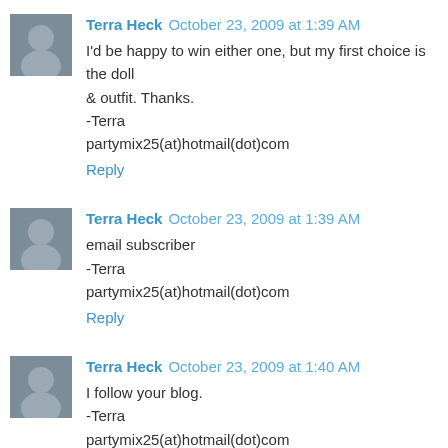[Figure (photo): Small avatar photo of Terra Heck (comment 1)]
Terra Heck October 23, 2009 at 1:39 AM
I'd be happy to win either one, but my first choice is the doll & outfit. Thanks.
-Terra
partymix25(at)hotmail(dot)com
Reply
[Figure (photo): Small avatar photo of Terra Heck (comment 2)]
Terra Heck October 23, 2009 at 1:39 AM
email subscriber
-Terra
partymix25(at)hotmail(dot)com
Reply
[Figure (photo): Small avatar photo of Terra Heck (comment 3)]
Terra Heck October 23, 2009 at 1:40 AM
I follow your blog.
-Terra
partymix25(at)hotmail(dot)com